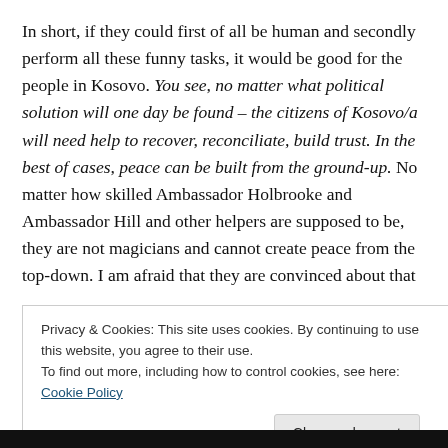In short, if they could first of all be human and secondly perform all these funny tasks, it would be good for the people in Kosovo. You see, no matter what political solution will one day be found – the citizens of Kosovo/a will need help to recover, reconciliate, build trust. In the best of cases, peace can be built from the ground-up. No matter how skilled Ambassador Holbrooke and Ambassador Hill and other helpers are supposed to be, they are not magicians and cannot create peace from the top-down. I am afraid that they are convinced about that
Privacy & Cookies: This site uses cookies. By continuing to use this website, you agree to their use.
To find out more, including how to control cookies, see here: Cookie Policy
Close and accept